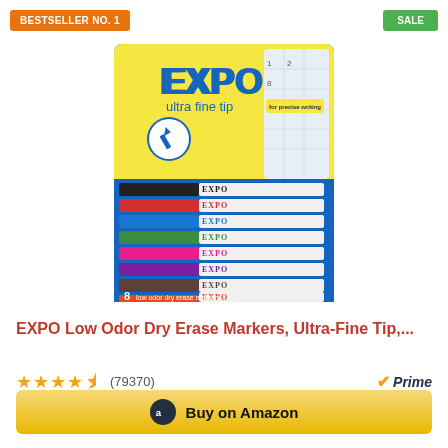BESTSELLER NO. 1
SALE
[Figure (photo): EXPO Low Odor Dry Erase Markers Ultra Fine Tip 8-pack product packaging. Yellow and blue package showing 8 multicolored markers (black, red, blue, purple, green, pink, purple, brown, orange). Package label reads: EXPO ultra fine tip, 8 low odor dry erase markers.]
EXPO Low Odor Dry Erase Markers, Ultra-Fine Tip,...
★★★★½ (79370)
Prime
$7.59
Buy on Amazon